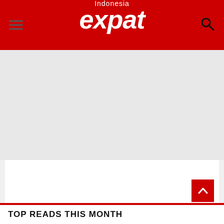Indonesia expat
[Figure (other): Gray advertisement placeholder area]
[Figure (other): White content/advertisement area with scroll-to-top button]
TOP READS THIS MONTH